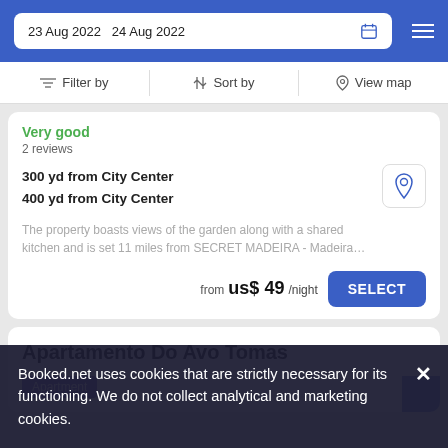23 Aug 2022  24 Aug 2022
Filter by  Sort by  View map
Very good
2 reviews
300 yd from City Center
400 yd from City Center
The property boasts views of the garden along with a shared kitchen and is set 11 miles from SECRET MADEIRA - Madeira…
from us$ 49/night
Apartamento Do Avo Tomas
Apartment
Booked.net uses cookies that are strictly necessary for its functioning. We do not collect analytical and marketing cookies.